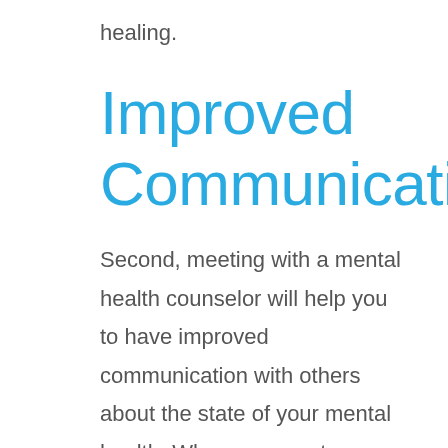healing.
Improved Communication
Second, meeting with a mental health counselor will help you to have improved communication with others about the state of your mental health. When you meet consistently with a mental health counselor, you’ll become accustomed to talking about your feelings, symptoms, and difficulties more comfortably and specifically. This will, in turn, help you to